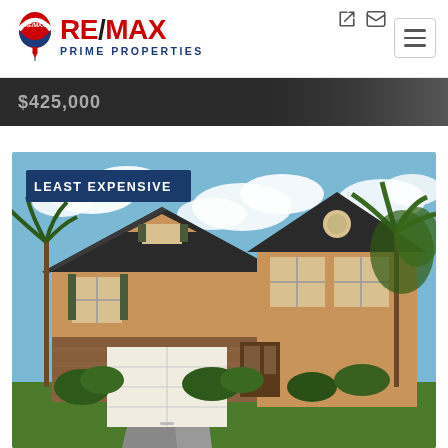[Figure (logo): RE/MAX Prime Properties logo with red balloon icon and blue text]
[Figure (screenshot): Price banner showing $425,000 in gray text on dark background]
[Figure (photo): Two-story Florida home with tan stucco exterior, white garage door, palm trees, blue sky with clouds, labeled LEAST EXPENSIVE]